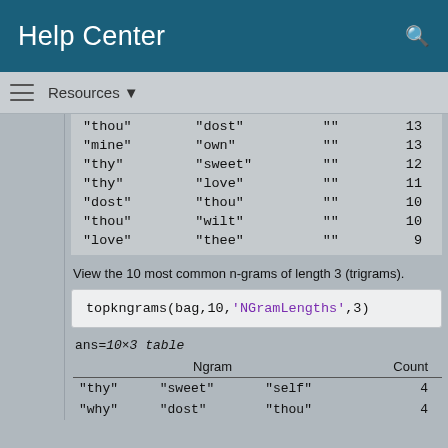Help Center
|  |  |  |  |
| --- | --- | --- | --- |
| "thou" | "dost" | "" | 13 |
| "mine" | "own" | "" | 13 |
| "thy" | "sweet" | "" | 12 |
| "thy" | "love" | "" | 11 |
| "dost" | "thou" | "" | 10 |
| "thou" | "wilt" | "" | 10 |
| "love" | "thee" | "" | 9 |
View the 10 most common n-grams of length 3 (trigrams).
topkngrams(bag,10,'NGramLengths',3)
ans=10×3 table
| Ngram |  |  | Count |
| --- | --- | --- | --- |
| "thy" | "sweet" | "self" | 4 |
| "why" | "dost" | "thou" | 4 |